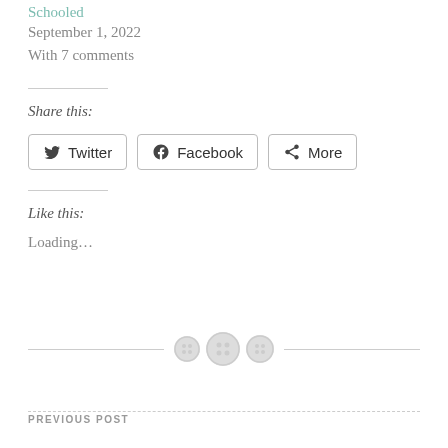Schooled
September 1, 2022
With 7 comments
Share this:
Twitter | Facebook | More
Like this:
Loading...
PREVIOUS POST